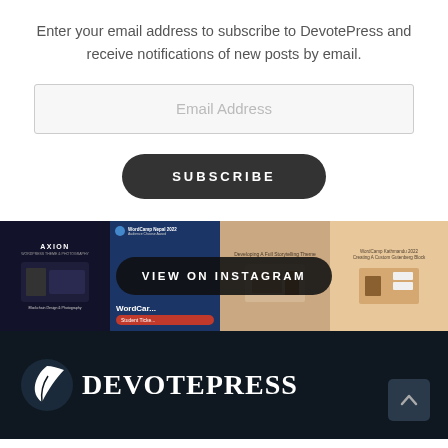Enter your email address to subscribe to DevotePress and receive notifications of new posts by email.
[Figure (screenshot): Email address input field with placeholder text 'Email Address']
[Figure (screenshot): Dark rounded SUBSCRIBE button]
[Figure (screenshot): Instagram feed strip with four post thumbnails and a 'VIEW ON INSTAGRAM' overlay button]
[Figure (logo): DevotePress logo — stylized leaf/feather icon followed by 'DevotePress' wordmark in white on dark navy background]